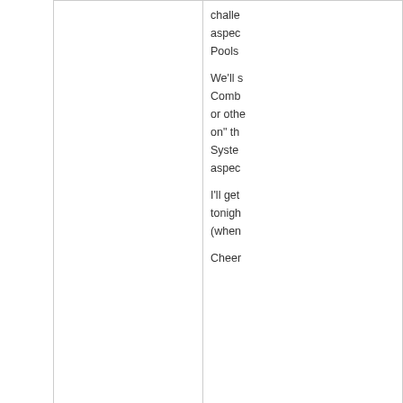challe... aspec... Pools...
We'll s... Comb... or othe... on" th... Syste... aspec...
I'll get... tonigh... (when...
Cheer...
Top
Tue, 03/29/2022 - 21:11
questccg
[Figure (photo): User avatar image showing a decorative gold letter G on black background]
BTW E... PROF...
I'm sti... 111) b... and th... FRAC...